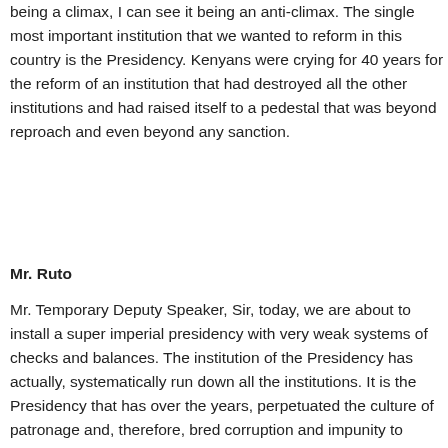being a climax, I can see it being an anti-climax. The single most important institution that we wanted to reform in this country is the Presidency. Kenyans were crying for 40 years for the reform of an institution that had destroyed all the other institutions and had raised itself to a pedestal that was beyond reproach and even beyond any sanction.
Mr. Ruto
Mr. Temporary Deputy Speaker, Sir, today, we are about to install a super imperial presidency with very weak systems of checks and balances. The institution of the Presidency has actually, systematically run down all the institutions. It is the Presidency that has over the years, perpetuated the culture of patronage and, therefore, bred corruption and impunity to levels that are unmatched. Today, we are about to install a super-imperial Presidency. This, in my view, is a negation of what Kenyans have been looking for. That could be mitigated if we were able to put in place institutions of checks and balances. These institutions of checks and balances include an improved Parliament and a strong Senate that is capable of ensuring that this Presidency does not ride over the rest. We have also been asking for devolution. Resources have been over-concentrated at the centre and that has been used by the institution of the Central